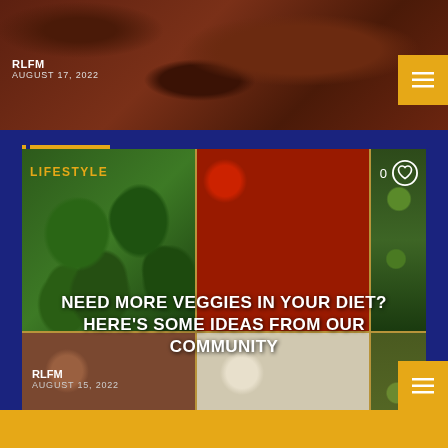RLFM
AUGUST 17, 2022
[Figure (photo): Close-up of dark reddish-brown cooked meat (top strip)]
LIFESTYLE
[Figure (photo): Grid of vegetables in wooden crates: green bell peppers, red tomatoes, red onions, and garlic bulbs]
NEED MORE VEGGIES IN YOUR DIET? HERE'S SOME IDEAS FROM OUR COMMUNITY
RLFM
AUGUST 15, 2022